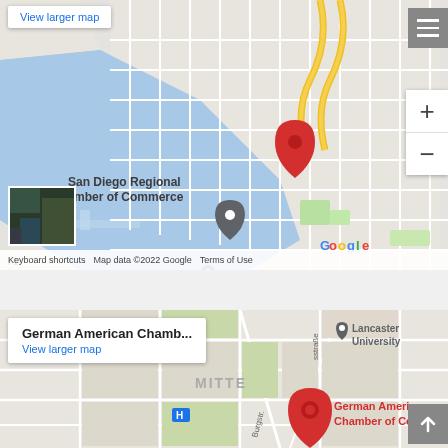[Figure (map): Google Maps view of San Diego Regional Chamber of Commerce area showing bay, street grid, and a red location pin. Includes View larger map link, hamburger menu, zoom controls, satellite thumbnail, and footer with Keyboard shortcuts, Map data ©2022 Google, Terms of Use.]
[Figure (map): Google Maps view of German American Chamber of Commerce in Berlin MITTE district. Shows red location pin labeled 'German American Chamber of Commerce...' with info box showing 'German American Chamb...' and 'View larger map' link. Lancaster University visible top right. Scroll-to-top button bottom right.]